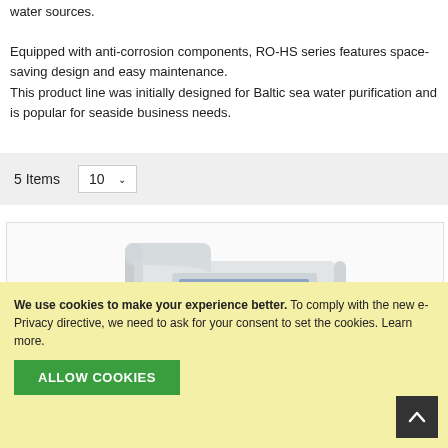water sources.

Equipped with anti-corrosion components, RO-HS series features space-saving design and easy maintenance.
This product line was initially designed for Baltic sea water purification and is popular for seaside business needs.
5 Items   10 ∨
[Figure (photo): A blurry photo of an industrial water purification machine (RO-HS series) with chrome/silver frame and a control panel with gauges and labels.]
We use cookies to make your experience better. To comply with the new e-Privacy directive, we need to ask for your consent to set the cookies. Learn more.
ALLOW COOKIES